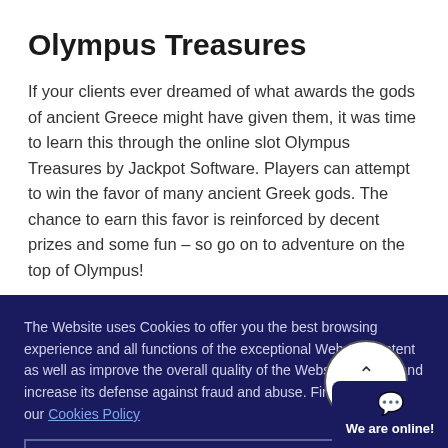Olympus Treasures
If your clients ever dreamed of what awards the gods of ancient Greece might have given them, it was time to learn this through the online slot Olympus Treasures by Jackpot Software. Players can attempt to win the favor of many ancient Greek gods. The chance to earn this favor is reinforced by decent prizes and some fun – so go on to adventure on the top of Olympus!
The Website uses Cookies to offer you the best browsing experience and all functions of the exceptional Website content as well as improve the overall quality of the Website, protect and increase its defense against fraud and abuse. Find out more in our Cookies Policy
Accept All Cookies
Accept Only Essential Cookies